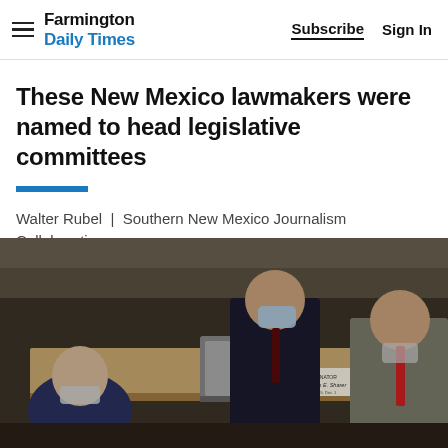Farmington Daily Times | Subscribe  Sign In
These New Mexico lawmakers were named to head legislative committees
Walter Rubel | Southern New Mexico Journalism Collaborative
[Figure (photo): Three men wearing face masks in what appears to be a legislative chamber. A name placard reading 'Senator William E. Sharer' is visible on a wooden desk. The men are in conversation, one in a dark suit, one in a grey suit with a red patterned tie.]